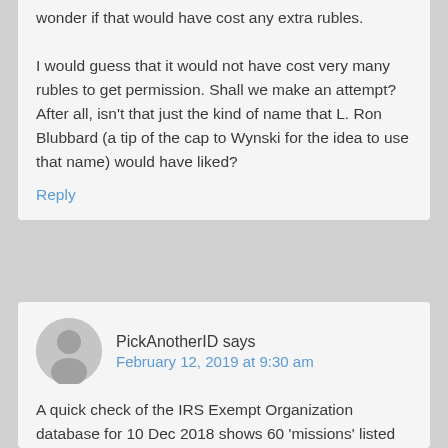wonder if that would have cost any extra rubles.

I would guess that it would not have cost very many rubles to get permission. Shall we make an attempt? After all, isn't that just the kind of name that L. Ron Blubbard (a tip of the cap to Wynski for the idea to use that name) would have liked?
Reply
PickAnotherID says
February 12, 2019 at 9:30 am
A quick check of the IRS Exempt Organization database for 10 Dec 2018 shows 60 'missions' listed for the US, including the SMI